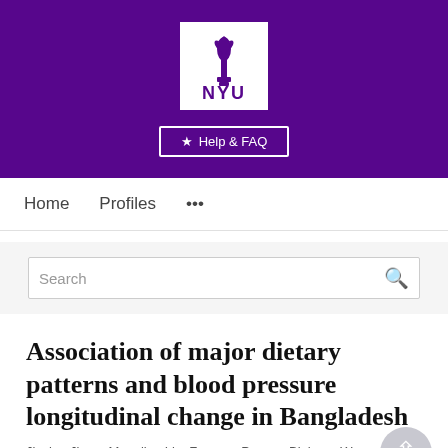[Figure (logo): NYU (New York University) logo: white square with purple torch icon above purple NYU text, on purple background banner with Help & FAQ button]
Home   Profiles   ...
Search
Association of major dietary patterns and blood pressure longitudinal change in Bangladesh
Jieying Jiang, Mengling Liu, Faruque Parvez, Binhuan Wang